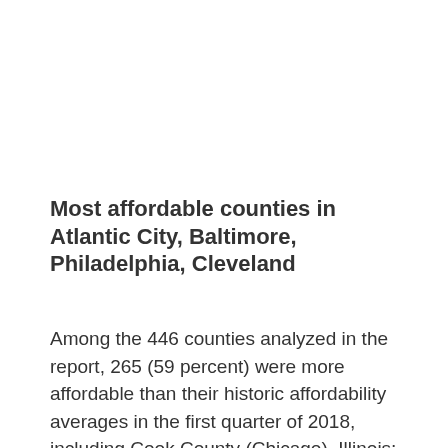Most affordable counties in Atlantic City, Baltimore, Philadelphia, Cleveland
Among the 446 counties analyzed in the report, 265 (59 percent) were more affordable than their historic affordability averages in the first quarter of 2018, including Cook County (Chicago), Illinois; Maricopa County (Phoenix), Arizona; Orange County, California; Miami-Dade County, Florida; and King County (Seattle),